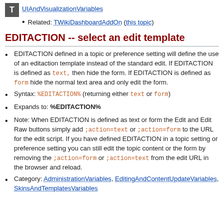[Figure (logo): Gray square logo with letter T]
UIAndVisualizationVariables
Related: TWikiDashboardAddOn (this topic)
EDITACTION -- select an edit template
EDITACTION defined in a topic or preference setting will define the use of an editaction template instead of the standard edit. If EDITACTION is defined as text, then hide the form. If EDITACTION is defined as form hide the normal text area and only edit the form.
Syntax: %EDITACTION% (returning either text or form)
Expands to: %EDITACTION%
Note: When EDITACTION is defined as text or form the Edit and Edit Raw buttons simply add ;action=text or ;action=form to the URL for the edit script. If you have defined EDITACTION in a topic setting or preference setting you can still edit the topic content or the form by removing the ;action=form or ;action=text from the edit URL in the browser and reload.
Category: AdministrationVariables, EditingAndContentUpdateVariables, SkinsAndTemplatesVariables